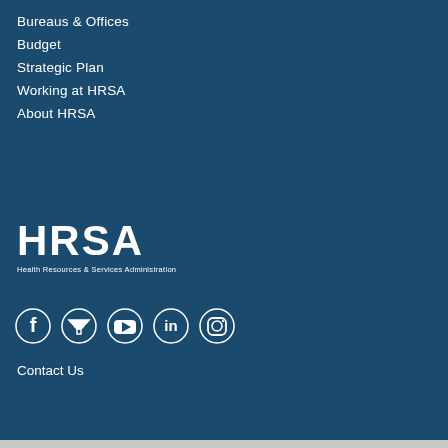Bureaus & Offices
Budget
Strategic Plan
Working at HRSA
About HRSA
[Figure (logo): HRSA logo - Health Resources & Services Administration white text on dark blue background]
[Figure (infographic): Social media icons: Facebook, Twitter, YouTube, LinkedIn, Instagram]
Contact Us